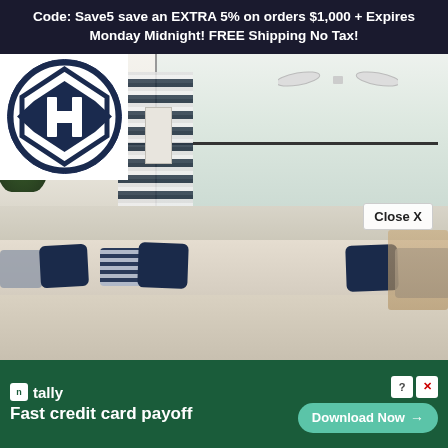Code: Save5 save an EXTRA 5% on orders $1,000 + Expires Monday Midnight! FREE Shipping No Tax!
[Figure (logo): Circular navy logo with geometric hexagonal/diamond shapes (KDH or similar brand mark) on white circular background]
[Figure (photo): Bright, airy living room interior with cream/beige sectional sofa adorned with navy blue, striped, and patterned throw pillows. Large windows with navy geometric print curtains, ceiling fan visible, green plant in corner, wall sconce visible.]
Close X
tally
Fast credit card payoff
Download Now →